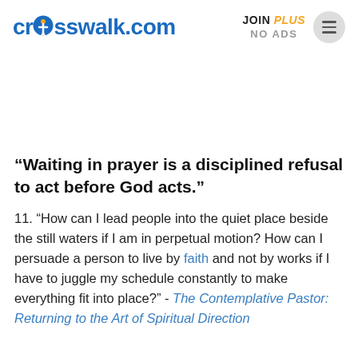crosswalk.com | JOIN PLUS NO ADS
“Waiting in prayer is a disciplined refusal to act before God acts.”
11. “How can I lead people into the quiet place beside the still waters if I am in perpetual motion? How can I persuade a person to live by faith and not by works if I have to juggle my schedule constantly to make everything fit into place?” - The Contemplative Pastor: Returning to the Art of Spiritual Direction